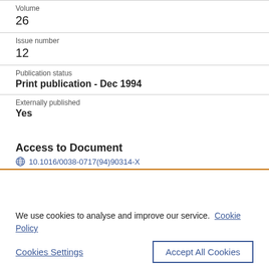Volume
26
Issue number
12
Publication status
Print publication - Dec 1994
Externally published
Yes
Access to Document
10.1016/0038-0717(94)90314-X
We use cookies to analyse and improve our service. Cookie Policy
Cookies Settings
Accept All Cookies